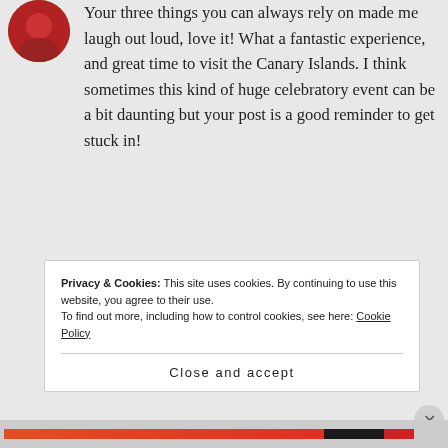[Figure (photo): Partial view of a circular avatar/profile image with red background, cropped at top-left corner]
Your three things you can always rely on made me laugh out loud, love it! What a fantastic experience, and great time to visit the Canary Islands. I think sometimes this kind of huge celebratory event can be a bit daunting but your post is a good reminder to get stuck in!
★ Like
Privacy & Cookies: This site uses cookies. By continuing to use this website, you agree to their use.
To find out more, including how to control cookies, see here: Cookie Policy
Close and accept